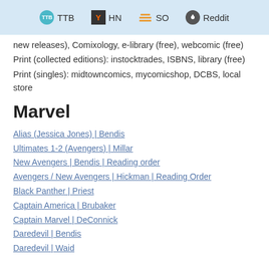TTB | HN | SO | Reddit
new releases), Comixology, e-library (free), webcomic (free)
Print (collected editions): instocktrades, ISBNS, library (free)
Print (singles): midtowncomics, mycomicshop, DCBS, local store
Marvel
Alias (Jessica Jones) | Bendis
Ultimates 1-2 (Avengers) | Millar
New Avengers | Bendis | Reading order
Avengers / New Avengers | Hickman | Reading Order
Black Panther | Priest
Captain America | Brubaker
Captain Marvel | DeConnick
Daredevil | Bendis
Daredevil | Waid